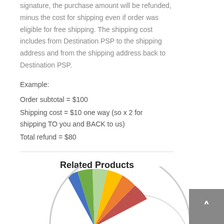signature, the purchase amount will be refunded, minus the cost for shipping even if order was eligible for free shipping. The shipping cost includes from Destination PSP to the shipping address and from the shipping address back to Destination PSP.
Example:
Order subtotal = $100
Shipping cost = $10 one way (so x 2 for shipping TO you and BACK to us)
Total refund = $80
Related Products
[Figure (illustration): Colorful fan/wheel graphic with segments in blue, green, yellow-green, orange, red-orange and red, with a light gray arc in the background. Partial view, bottom of page.]